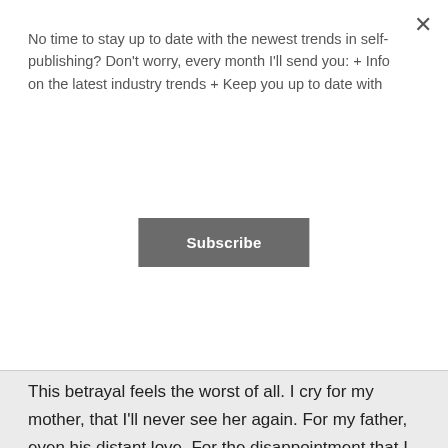No time to stay up to date with the newest trends in self-publishing? Don't worry, every month I'll send you: + Info on the latest industry trends + Keep you up to date with
Subscribe
start to cry, then. Remembering.
This betrayal feels the worst of all. I cry for my mother, that I'll never see her again. For my father, even his distant love. For the disappointment that I am, weak, easily led, endangering them all. For the fact that I'm going to die here, alone.
Liked by 2 people